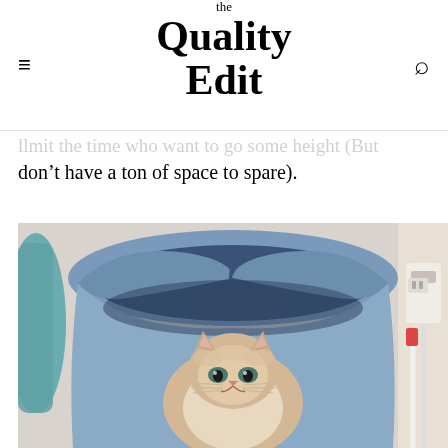the Quality Edit
…llmit the time who want to go some height (But don't have a ton of space to spare).
[Figure (photo): A fluffy light-colored kitten sitting inside a large blue laundry bag or basket that is folded over the top, with a power strip and charger visible on the right side, and a teal/turquoise fuzzy object on the left side.]